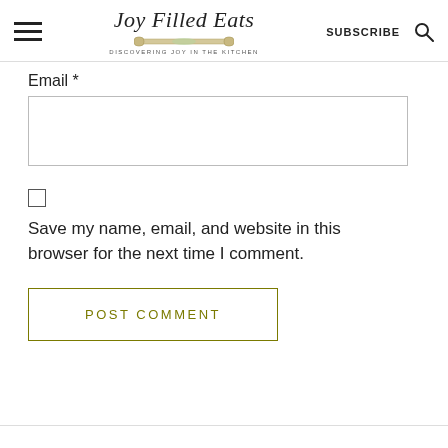Joy Filled Eats — DISCOVERING JOY IN THE KITCHEN — SUBSCRIBE
Email *
Save my name, email, and website in this browser for the next time I comment.
POST COMMENT